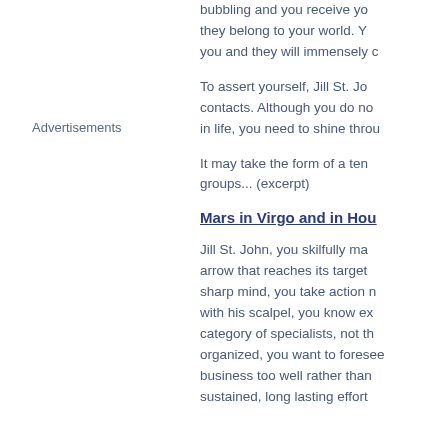bubbling and you receive yo... they belong to your world. Y... you and they will immensely c...
To assert yourself, Jill St. Jo... contacts. Although you do no... in life, you need to shine throu...
It may take the form of a ten... groups... (excerpt)
Advertisements
Mars in Virgo and in Hou
Jill St. John, you skilfully ma... arrow that reaches its target... sharp mind, you take action n... with his scalpel, you know ex... category of specialists, not th... organized, you want to foresee... business too well rather than... sustained, long lasting effort...